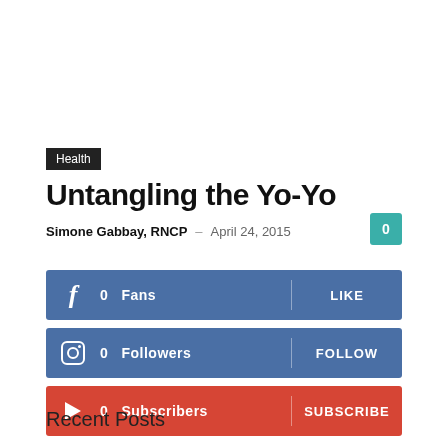Health
Untangling the Yo-Yo
Simone Gabbay, RNCP  –  April 24, 2015  0
[Figure (infographic): Social media follow bars: Facebook 0 Fans LIKE (blue), Instagram 0 Followers FOLLOW (blue), YouTube 0 Subscribers SUBSCRIBE (red)]
Recent Posts